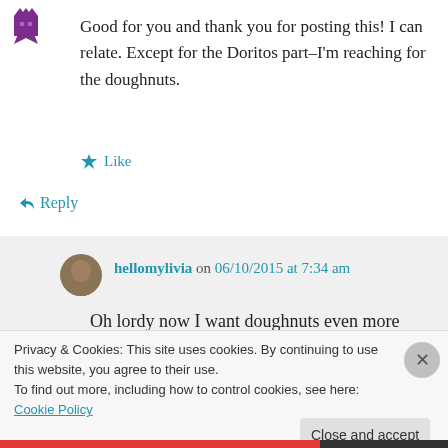[Figure (illustration): Purple pixel art avatar icon with spiky crown at top left]
Good for you and thank you for posting this! I can relate. Except for the Doritos part–I'm reaching for the doughnuts.
★ Like
↪ Reply
[Figure (photo): Circular user avatar photo of hellomylivia, brown-haired person]
hellomylivia on 06/10/2015 at 7:34 am
Oh lordy now I want doughnuts even more
Privacy & Cookies: This site uses cookies. By continuing to use this website, you agree to their use.
To find out more, including how to control cookies, see here: Cookie Policy
Close and accept